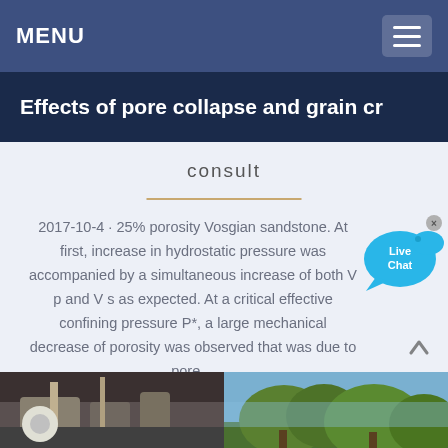MENU
Effects of pore collapse and grain cr
consult
2017-10-4 · 25% porosity Vosgian sandstone. At first, increase in hydrostatic pressure was accompanied by a simultaneous increase of both V p and V s as expected. At a critical effective confining pressure P*, a large mechanical decrease of porosity was observed that was due to pore…
[Figure (photo): Two side-by-side photos at the bottom: left shows industrial/mechanical equipment indoors, right shows trees against a blue sky]
[Figure (illustration): Live Chat speech bubble icon in blue]